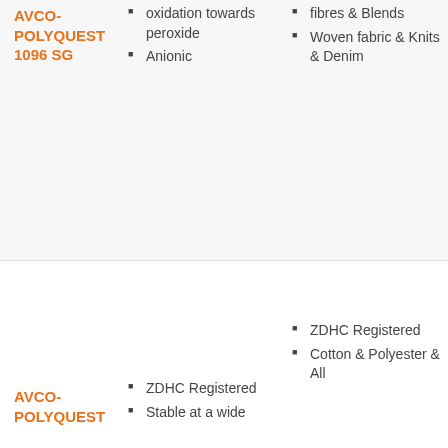AVCO-POLYQUEST 1096 SG
oxidation towards peroxide
Anionic
fibres & Blends
Woven fabric & Knits & Denim
AVCO-POLYQUEST
ZDHC Registered
Stable at a wide
ZDHC Registered
Cotton & Polyester & All